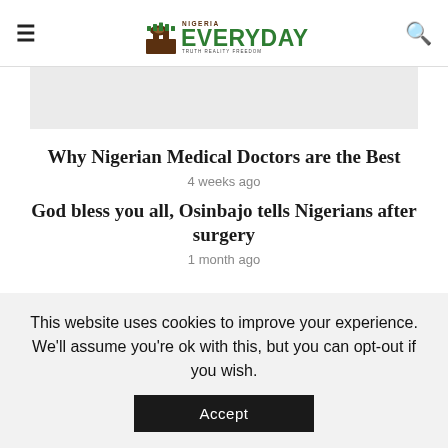Nigeria Everyday
[Figure (other): Gray placeholder image box]
Why Nigerian Medical Doctors are the Best
4 weeks ago
God bless you all, Osinbajo tells Nigerians after surgery
1 month ago
This website uses cookies to improve your experience. We'll assume you're ok with this, but you can opt-out if you wish. Accept